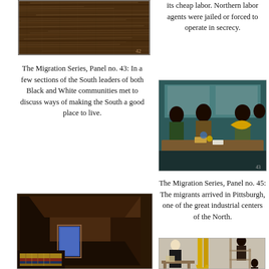[Figure (illustration): The Migration Series painting panel showing dark wooden boards/planks in brown tones with light grain streaks]
its cheap labor. Northern labor agents were jailed or forced to operate in secrecy.
The Migration Series, Panel no. 43: In a few sections of the South leaders of both Black and White communities met to discuss ways of making the South a good place to live.
[Figure (illustration): The Migration Series Panel no. 43 painting showing figures at a meeting table with a teal background, dark silhouetted people, a yellow fan, and objects on the table]
[Figure (illustration): The Migration Series painting showing a dark brown interior room/hallway with perspective walls, a blue rectangular door or window, and colorful striped textile/blanket on the floor]
The Migration Series, Panel no. 45: The migrants arrived in Pittsburgh, one of the great industrial centers of the North.
[Figure (illustration): The Migration Series Panel no. 45 painting showing industrial Pittsburgh scene with yellow pipes, dark figures, a man in black coat at a workbench, and scaffolding with figures]